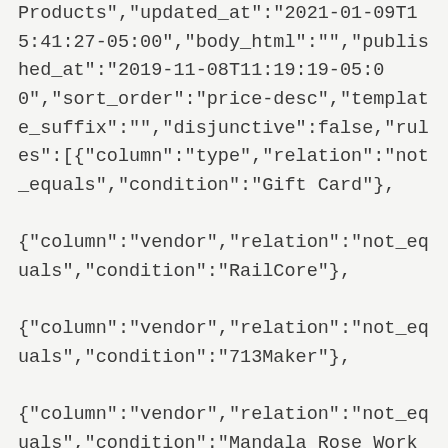Products","updated_at":"2021-01-09T15:41:27-05:00","body_html":"","published_at":"2019-11-08T11:19:19-05:00","sort_order":"price-desc","template_suffix":"","disjunctive":false,"rules":[{"column":"type","relation":"not_equals","condition":"Gift Card"},{"column":"vendor","relation":"not_equals","condition":"RailCore"},{"column":"vendor","relation":"not_equals","condition":"713Maker"},{"column":"vendor","relation":"not_equals","condition":"Mandala Rose Works"},{"column":"title","relation":"not_equals","condition":"LDO STEPPER MOTOR SET FOR RAILCORE II 300ZL/ZLT"},{"column":"title","relation":"not_equals","condition":"MIS